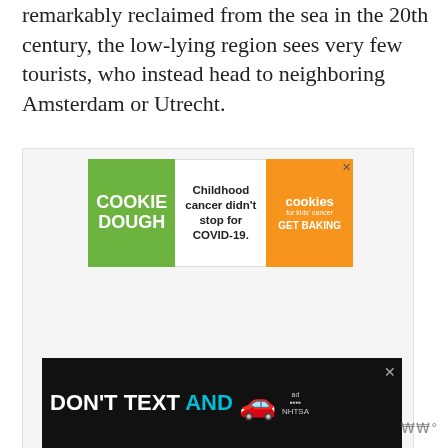remarkably reclaimed from the sea in the 20th century, the low-lying region sees very few tourists, who instead head to neighboring Amsterdam or Utrecht.
[Figure (other): Advertisement banner for 'Cookie Dough for Kids Cancer' with green left panel reading 'COOKIE DOUGH', white center panel reading 'Childhood cancer didn’t stop for COVID-19.', and orange right panel with cookies logo and 'GET BAKING']
[Figure (other): Advertisement banner reading 'DON'T TEXT AND' with a car emoji and NHTSA ad badge on a black background]